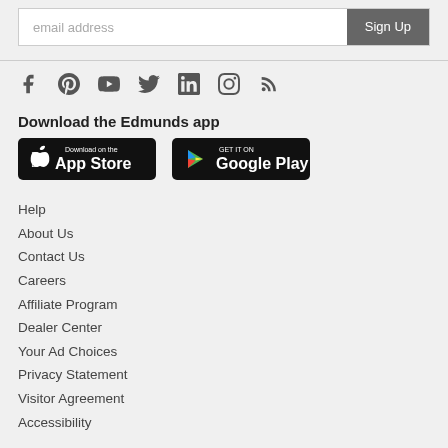email address | Sign Up
[Figure (infographic): Social media icons: Facebook, Pinterest, YouTube, Twitter, LinkedIn, Instagram, RSS]
Download the Edmunds app
[Figure (logo): App Store download badge (black)]
[Figure (logo): Google Play download badge (black)]
Help
About Us
Contact Us
Careers
Affiliate Program
Dealer Center
Your Ad Choices
Privacy Statement
Visitor Agreement
Accessibility